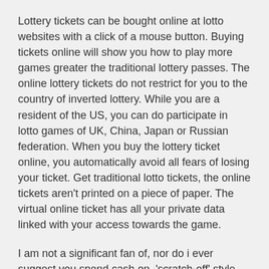Lottery tickets can be bought online at lotto websites with a click of a mouse button. Buying tickets online will show you how to play more games greater the traditional lottery passes. The online lottery tickets do not restrict for you to the country of inverted lottery. While you are a resident of the US, you can do participate in lotto games of UK, China, Japan or Russian federation. When you buy the lottery ticket online, you automatically avoid all fears of losing your ticket. Get traditional lotto tickets, the online tickets aren't printed on a piece of paper. The virtual online ticket has all your private data linked with your access towards the game.
I am not a significant fan of, nor do i ever suggest you spend cash on, 'scratch-off' style online games. lottery odds are bad enough with no you dig deep in the percentages and payout figures on scratch off tickets, WOW, they major hole in the ocean in order to toss cash earned your money.
Write all the potential lottery digits may be chosen on a little of